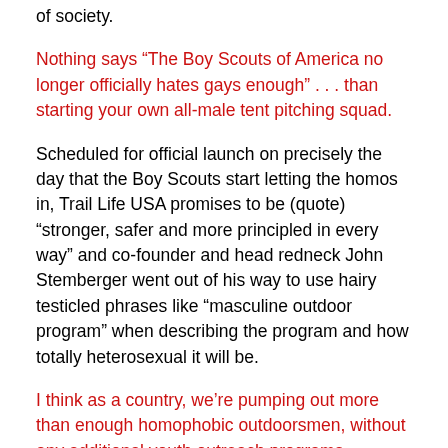of society.
Nothing says “The Boy Scouts of America no longer officially hates gays enough” . . . than starting your own all-male tent pitching squad.
Scheduled for official launch on precisely the day that the Boy Scouts start letting the homos in, Trail Life USA promises to be (quote) “stronger, safer and more principled in every way” and co-founder and head redneck John Stemberger went out of his way to use hairy testicled phrases like “masculine outdoor program” when describing the program and how totally heterosexual it will be.
I think as a country, we’re pumping out more than enough homophobic outdoorsmen, without any additional youth outreach programs.  There’s an entire homophobic outdoorsmen genre on television.  We have an entire